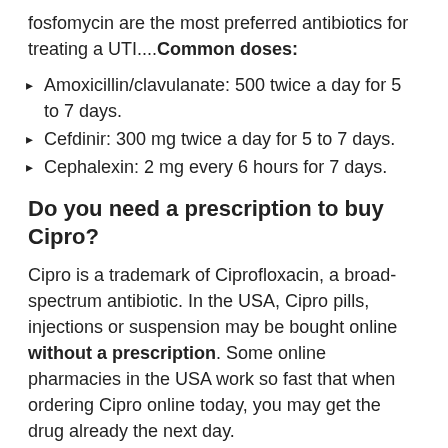fosfomycin are the most preferred antibiotics for treating a UTI....Common doses:
Amoxicillin/clavulanate: 500 twice a day for 5 to 7 days.
Cefdinir: 300 mg twice a day for 5 to 7 days.
Cephalexin: 2 mg every 6 hours for 7 days.
Do you need a prescription to buy Cipro?
Cipro is a trademark of Ciprofloxacin, a broad-spectrum antibiotic. In the USA, Cipro pills, injections or suspension may be bought online without a prescription. Some online pharmacies in the USA work so fast that when ordering Cipro online today, you may get the drug already the next day.
Will you have confusion with Cipro?